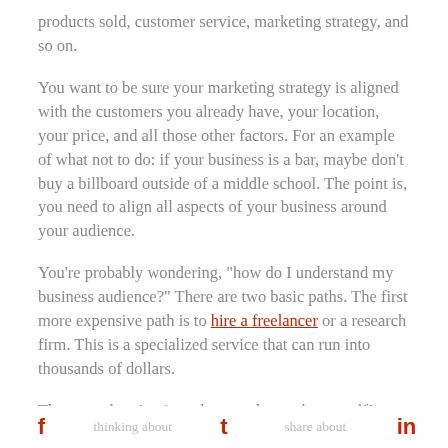products sold, customer service, marketing strategy, and so on.
You want to be sure your marketing strategy is aligned with the customers you already have, your location, your price, and all those other factors. For an example of what not to do: if your business is a bar, maybe don’t buy a billboard outside of a middle school. The point is, you need to align all aspects of your business around your audience.
You’re probably wondering, “how do I understand my business audience?” There are two basic paths. The first more expensive path is to hire a freelancer or a research firm. This is a specialized service that can run into thousands of dollars.
The second option is to do some legwork yourself!
f  [thinking about]  [share about]  in